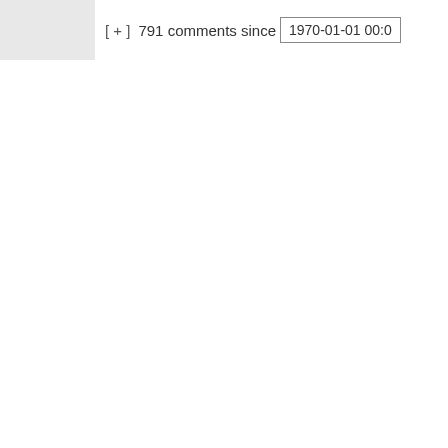[ + ]  791 comments since  1970-01-01 00:0
slightly better gro reality than the Ne Soviet Man. The f of actual abusers making it so that y you can't leave, in which usually don up to examination bring up death thr against the abuse spouse, but aside their dubious cred there are all the a spouses that can't because of the ab death threats aga themselves. You leave because yo